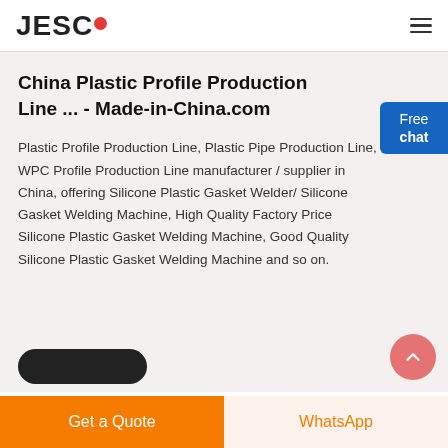JESCO
China Plastic Profile Production Line ... - Made-in-China.com
Plastic Profile Production Line, Plastic Pipe Production Line, WPC Profile Production Line manufacturer / supplier in China, offering Silicone Plastic Gasket Welder/ Silicone Gasket Welding Machine, High Quality Factory Price Silicone Plastic Gasket Welding Machine, Good Quality Silicone Plastic Gasket Welding Machine and so on.
[Figure (other): Free chat button (blue rounded rectangle with text 'Free chat')]
[Figure (other): Scroll up button (pink/red circle with upward chevron arrow)]
[Figure (other): Dark rounded button at bottom of content area]
Get a Quote
WhatsApp